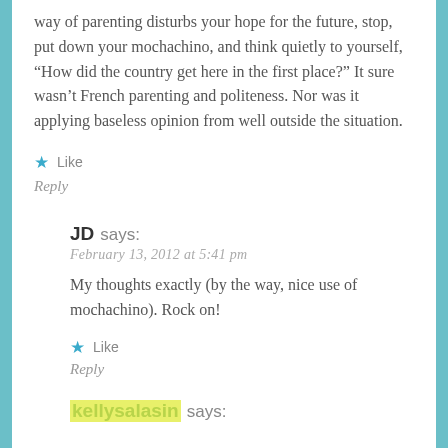way of parenting disturbs your hope for the future, stop, put down your mochachino, and think quietly to yourself, “How did the country get here in the first place?” It sure wasn’t French parenting and politeness. Nor was it applying baseless opinion from well outside the situation.
★ Like
Reply
JD says:
February 13, 2012 at 5:41 pm
My thoughts exactly (by the way, nice use of mochachino). Rock on!
★ Like
Reply
kellysalasin says: